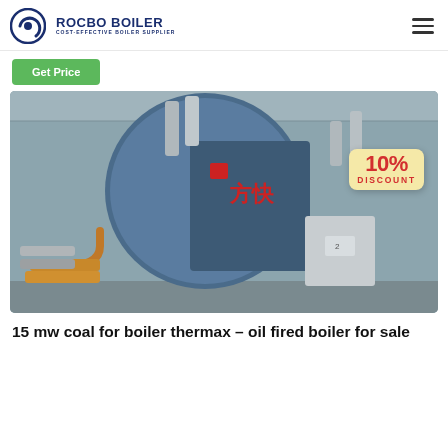[Figure (logo): Rocbo Boiler logo with text 'ROCBO BOILER' and tagline 'COST-EFFECTIVE BOILER SUPPLIER']
Get Price
[Figure (photo): Industrial boiler in a factory/warehouse setting, large blue cylindrical boiler with pipes, plus a 10% DISCOUNT badge overlay]
15 mw coal for boiler thermax – oil fired boiler for sale